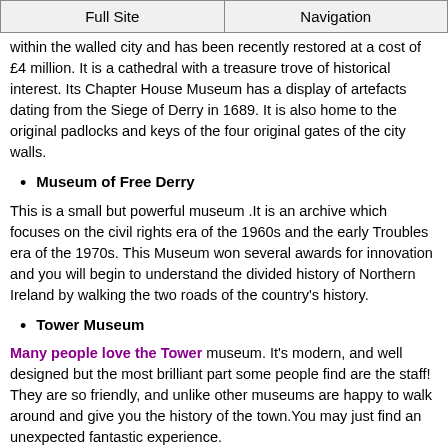Full Site | Navigation
within the walled city and has been recently restored at a cost of £4 million. It is a cathedral with a treasure trove of historical interest. Its Chapter House Museum has a display of artefacts dating from the Siege of Derry in 1689. It is also home to the original padlocks and keys of the four original gates of the city walls.
Museum of Free Derry
This is a small but powerful museum .It is an archive which focuses on the civil rights era of the 1960s and the early Troubles era of the 1970s. This Museum won several awards for innovation and you will begin to understand the divided history of Northern Ireland by walking the two roads of the country's history.
Tower Museum
Many people love the Tower museum. It's modern, and well designed but the most brilliant part some people find are the staff! They are so friendly, and unlike other museums are happy to walk around and give you the history of the town.You may just find an unexpected fantastic experience.